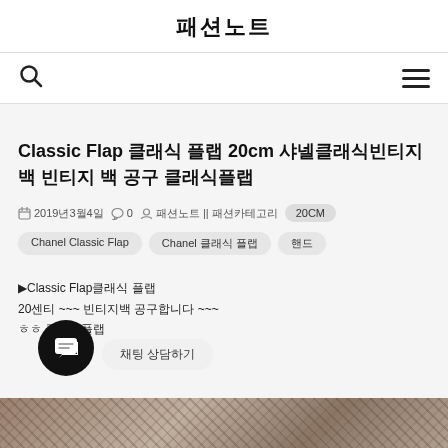패션노트
Classic Flap 클래식 플랩 20cm 샤넬클래식빈티지백 빈티지 백 공구 클래식플랩
2019년3월4일   0   패션노트 || 패션카테고리   20CM   Chanel Classic Flap   Chanel 클래식 플랩   핸드
▶Classic Flap클래식 플랩 20센티 ~~~ 빈티지백 공구합니다 ~~~ ㅎㅎ 클래식플랩
[Figure (photo): Bottom portion of a textured woven fabric or bag material in brown/tan tones]